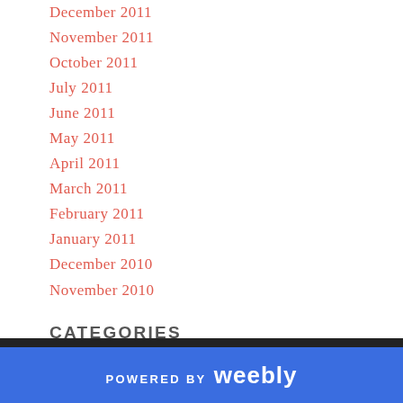December 2011
November 2011
October 2011
July 2011
June 2011
May 2011
April 2011
March 2011
February 2011
January 2011
December 2010
November 2010
CATEGORIES
All
RSS Feed
POWERED BY weebly